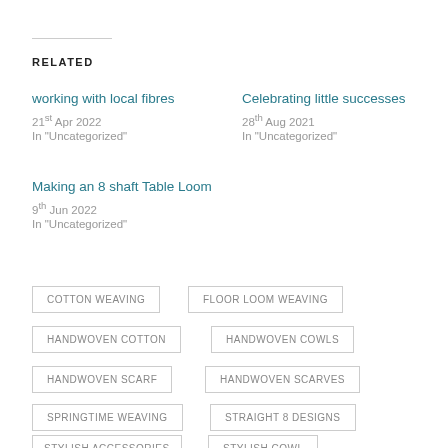RELATED
working with local fibres
21st Apr 2022
In "Uncategorized"
Celebrating little successes
28th Aug 2021
In "Uncategorized"
Making an 8 shaft Table Loom
9th Jun 2022
In "Uncategorized"
COTTON WEAVING
FLOOR LOOM WEAVING
HANDWOVEN COTTON
HANDWOVEN COWLS
HANDWOVEN SCARF
HANDWOVEN SCARVES
SPRINGTIME WEAVING
STRAIGHT 8 DESIGNS
STYLISH ACCESSORIES
STYLISH COWL